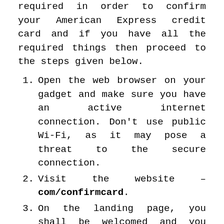required in order to confirm your American Express credit card and if you have all the required things then proceed to the steps given below.
Open the web browser on your gadget and make sure you have an active internet connection. Don't use public Wi-Fi, as it may pose a threat to the secure connection.
Visit the website – com/confirmcard.
On the landing page, you shall be welcomed and you shall see a message to enter your credit card information.
On the webpage, you will see a detailed image of the Amex Card with a description of all the required